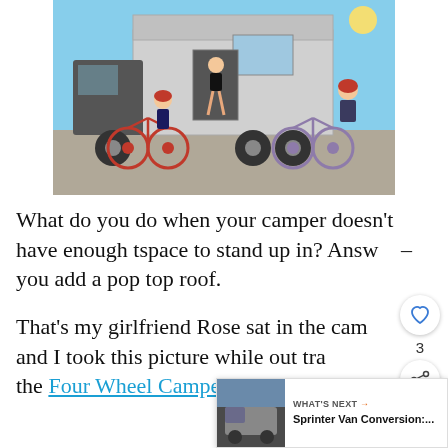[Figure (photo): A family with mountain bikes posed in front of a truck camper on a sunny day. A child in a red helmet sits on a red mountain bike, a woman sits in the open camper doorway with legs dangling, and a man in a red helmet stands beside a purple/grey mountain bike. The camper is white and silver, attached to a truck.]
What do you do when your camper doesn't have enough tspace to stand up in? Answer – you add a pop top roof.
That's my girlfriend Rose sat in the camper and I took this picture while out travelling with the Four Wheel Campers team through